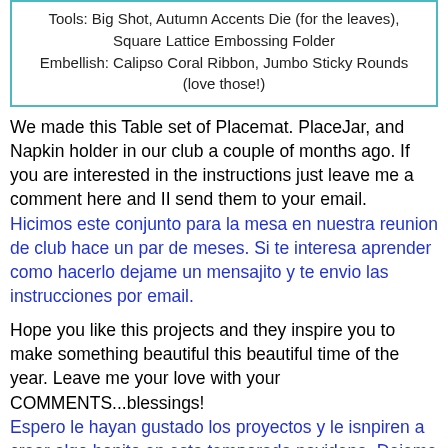Tools: Big Shot, Autumn Accents Die (for the leaves), Square Lattice Embossing Folder
Embellish: Calipso Coral Ribbon, Jumbo Sticky Rounds (love those!)
We made this Table set of Placemat. PlaceJar, and Napkin holder in our club a couple of months ago. If you are interested in the instructions just leave me a comment here and II send them to your email.
Hicimos este conjunto para la mesa en nuestra reunion de club hace un par de meses. Si te interesa aprender como hacerlo dejame un mensajito y te envio las instrucciones por email.
Hope you like this projects and they inspire you to make something beautiful this beautiful time of the year. Leave me your love with your COMMENTS...blessings!
Espero le hayan gustado los proyectos y le isnpiren a crear algo bonito en esta temporada navidena. Dejeme su amor con sus comentarios....bendiciones!
ONLINE EXTRAVAGANZA is still going on. And look